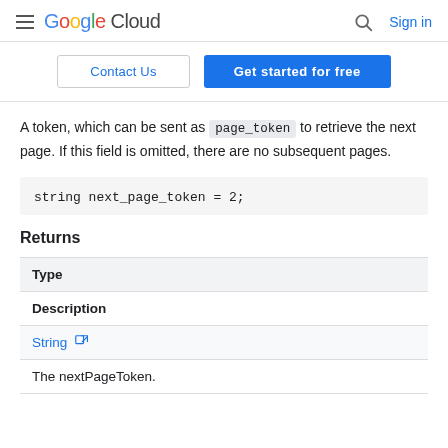Google Cloud | Sign in
Contact Us | Get started for free
A token, which can be sent as page_token to retrieve the next page. If this field is omitted, there are no subsequent pages.
Returns
| Type | Description |
| --- | --- |
| String (external link) | The nextPageToken. |